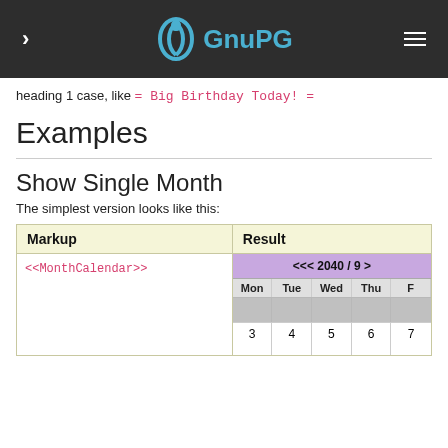GnuPG
heading 1 case, like = Big Birthday Today! =
Examples
Show Single Month
The simplest version looks like this:
| Markup | Result |
| --- | --- |
| <<MonthCalendar>> | <<< 2040 / 9 > calendar with Mon Tue Wed Thu ... and dates 3 4 5 6 7... |